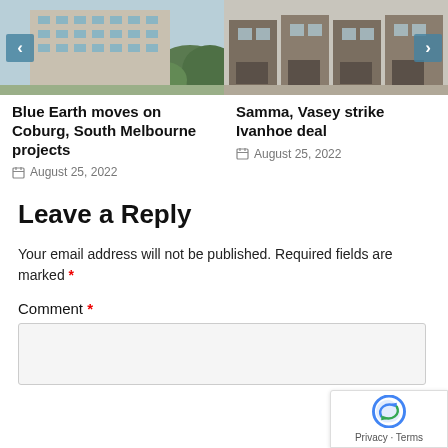[Figure (photo): Photo of a modern multi-storey residential building with trees, with a left navigation arrow overlay]
[Figure (photo): Photo of modern townhouse-style residential buildings with a right navigation arrow overlay]
Blue Earth moves on Coburg, South Melbourne projects
August 25, 2022
Samma, Vasey strike Ivanhoe deal
August 25, 2022
Leave a Reply
Your email address will not be published. Required fields are marked *
Comment *